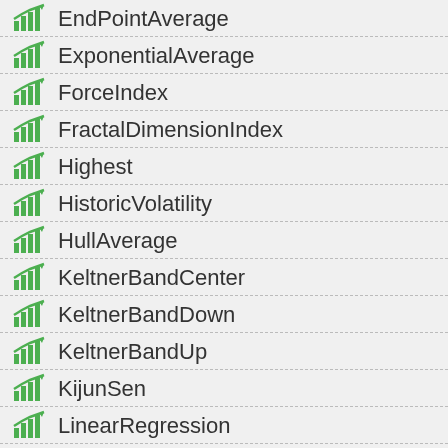EndPointAverage
ExponentialAverage
ForceIndex
FractalDimensionIndex
Highest
HistoricVolatility
HullAverage
KeltnerBandCenter
KeltnerBandDown
KeltnerBandUp
KijunSen
LinearRegression
LinearRegressionSlope